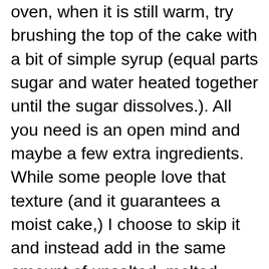oven, when it is still warm, try brushing the top of the cake with a bit of simple syrup (equal parts sugar and water heated together until the sugar dissolves.). All you need is an open mind and maybe a few extra ingredients. While some people love that texture (and it guarantees a moist cake,) I choose to skip it and instead add in the same amount of unsalted, melted butter. Tired of eating the same ol' store-bought cake mix? Sadly, a box mix can sometimes leave a lot to be desired, but if you follow my tips on how to make box cake better, you will be sitting pretty. This boxed cake mix hack makes your store bought mix taste like it came from a bakery! 3. Here are some of of my favorites: Snap a pic and hashtag it #SavoryExperiments— We love to see your creations on Instagram, Facebook, and Twitter! But boxed cake mix also offers an easy, reliable blank canvas of sorts for building myriad elaborate baked creations. Recipes and more delivered to your inbox. For the love of all that is good and holy, sift the dry ingredients. 7. Try it warm and a bit thinner than normal (chocolate is my favorite). With four simple ingredients, you can